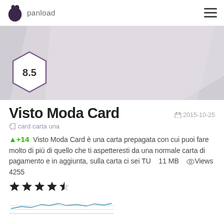panload
[Figure (screenshot): Hero banner with grey parallelogram shape and hexagonal score badge showing 8.5]
Visto Moda Card
2015-10-25
card carta una
+14  Visto Moda Card è una carta prepagata con cui puoi fare molto di più di quello che ti aspetteresti da una normale carta di pagamento e in aggiunta, sulla carta ci sei TU    11 MB    Views 4255
[Figure (line-chart): Small sparkline / trend line chart showing wavy line in blue-grey]